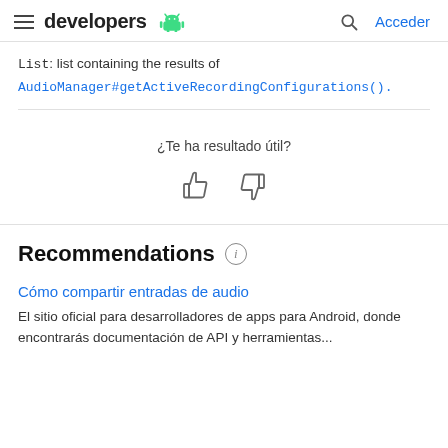developers [android logo] | Acceder
List: list containing the results of AudioManager#getActiveRecordingConfigurations().
[Figure (infographic): Feedback section with thumbs up and thumbs down icons, and the question ¿Te ha resultado útil?]
Recommendations
Cómo compartir entradas de audio
El sitio oficial para desarrolladores de apps para Android, donde encontrarás documentación de API y herramientas...